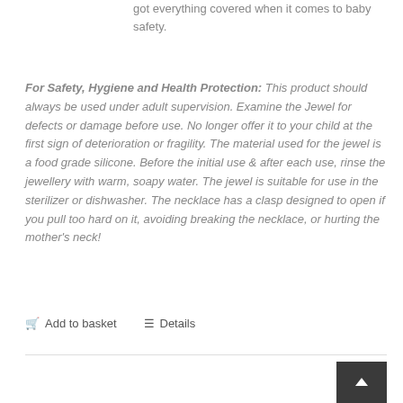got everything covered when it comes to baby safety.
For Safety, Hygiene and Health Protection: This product should always be used under adult supervision. Examine the Jewel for defects or damage before use. No longer offer it to your child at the first sign of deterioration or fragility. The material used for the jewel is a food grade silicone. Before the initial use & after each use, rinse the jewellery with warm, soapy water. The jewel is suitable for use in the sterilizer or dishwasher. The necklace has a clasp designed to open if you pull too hard on it, avoiding breaking the necklace, or hurting the mother's neck!
Add to basket   Details